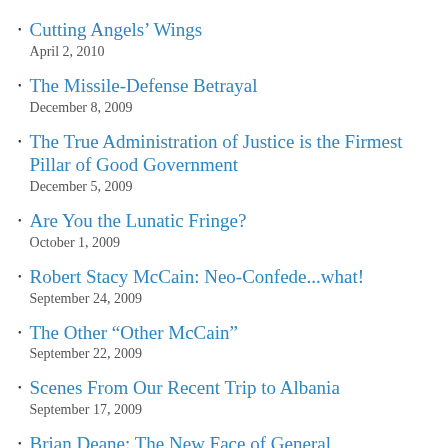Cutting Angels' Wings
April 2, 2010
The Missile-Defense Betrayal
December 8, 2009
The True Administration of Justice is the Firmest Pillar of Good Government
December 5, 2009
Are You the Lunatic Fringe?
October 1, 2009
Robert Stacy McCain: Neo-Confede...what!
September 24, 2009
The Other “Other McCain”
September 22, 2009
Scenes From Our Recent Trip to Albania
September 17, 2009
Brian Deane: The New Face of General